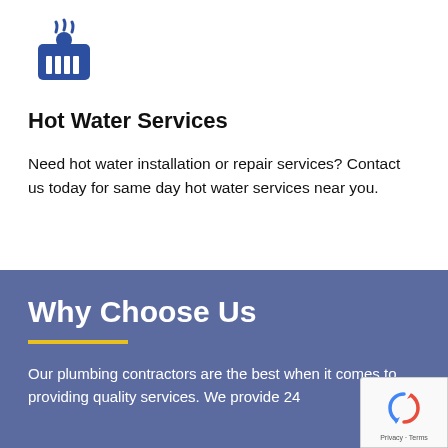[Figure (illustration): Blue icon of a hot tub or spa with steam waves rising, representing hot water services]
Hot Water Services
Need hot water installation or repair services? Contact us today for same day hot water services near you.
Why Choose Us
Our plumbing contractors are the best when it comes to providing quality services. We provide 24